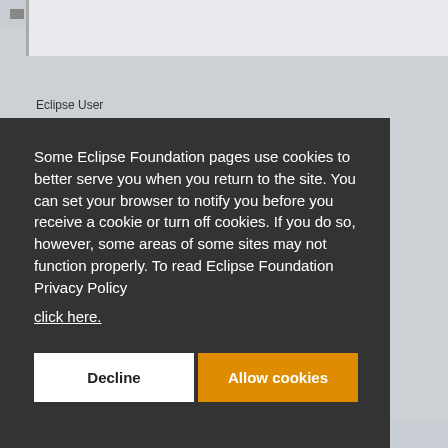Re: Dependency calculator [message #1788843]
Eclipse User
Some Eclipse Foundation pages use cookies to better serve you when you return to the site. You can set your browser to notify you before you receive a cookie or turn off cookies. If you do so, however, some areas of some sites may not function properly. To read Eclipse Foundation Privacy Policy click here.
Decline
Allow cookies
Re: Dependency calculator [message #1789845]